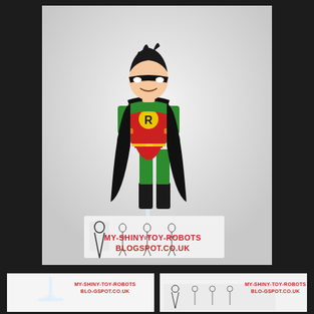[Figure (photo): Robin action figure (DC Comics animated series style) standing upright in red, green, and yellow costume with black cape, displayed on a clear stand. Background shows character design sheets. Watermark: MY-SHINY-TOY-ROBOTS BLOGSPOT.CO.UK]
[Figure (photo): Close-up of clear plastic figure stand accessory on white background. Watermark: MY-SHINY-TOY-ROBOTS BLO-GSPOT.CO.UK]
[Figure (photo): Close-up of character design/instruction sheet showing Batman and Robin character poses in black and white line art. Watermark: MY-SHINY-TOY-ROBOTS BLO-GSPOT.CO.UK]